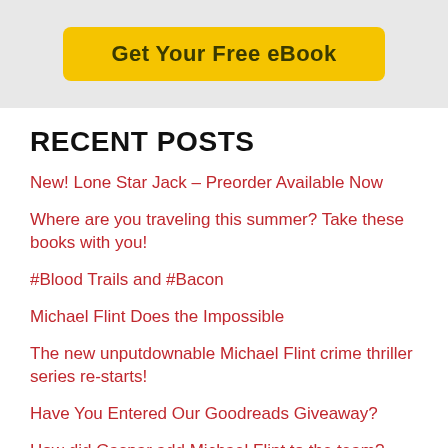[Figure (other): Yellow 'Get Your Free eBook' button on a light grey banner background]
RECENT POSTS
New! Lone Star Jack – Preorder Available Now
Where are you traveling this summer? Take these books with you!
#Blood Trails and #Bacon
Michael Flint Does the Impossible
The new unputdownable Michael Flint crime thriller series re-starts!
Have You Entered Our Goodreads Giveaway?
How did Gaspar add Michael Flint to the team?
Learn how I've added one of your favorite characters